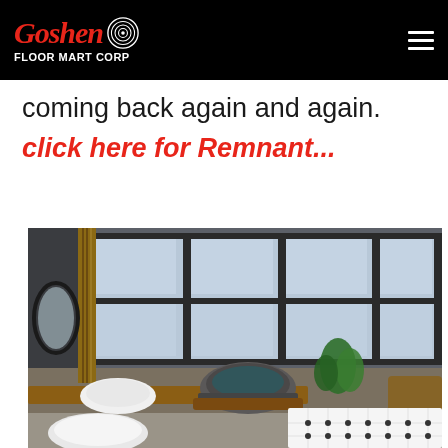Goshen Floor Mart Corp
coming back again and again.
click here for Remnant...
[Figure (photo): Modern bathroom interior with large grid windows, oval mirror, stone basin, white vessel sinks on wooden counter, plants, and black-and-white octagon tile mat]